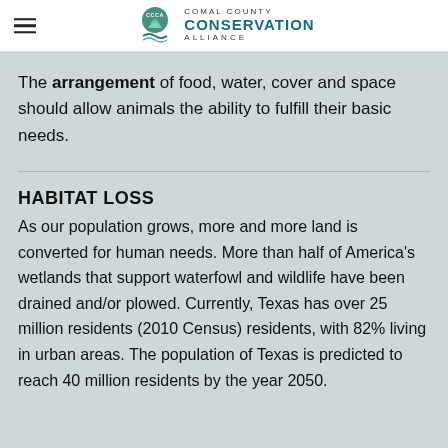Comal County Conservation Alliance
The arrangement of food, water, cover and space should allow animals the ability to fulfill their basic needs.
HABITAT LOSS
As our population grows, more and more land is converted for human needs. More than half of America's wetlands that support waterfowl and wildlife have been drained and/or plowed. Currently, Texas has over 25 million residents (2010 Census) residents, with 82% living in urban areas. The population of Texas is predicted to reach 40 million residents by the year 2050.